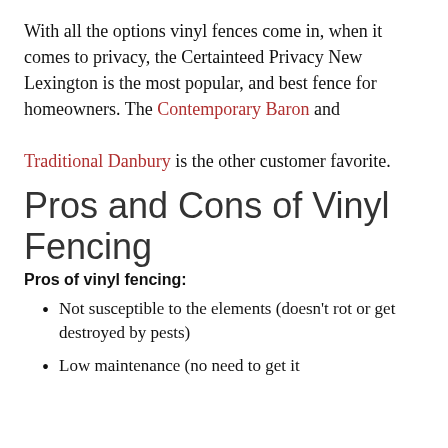With all the options vinyl fences come in, when it comes to privacy, the Certainteed Privacy New Lexington is the most popular, and best fence for homeowners. The Contemporary Baron and

Traditional Danbury is the other customer favorite.
Pros and Cons of Vinyl Fencing
Pros of vinyl fencing:
Not susceptible to the elements (doesn't rot or get destroyed by pests)
Low maintenance (no need to get it